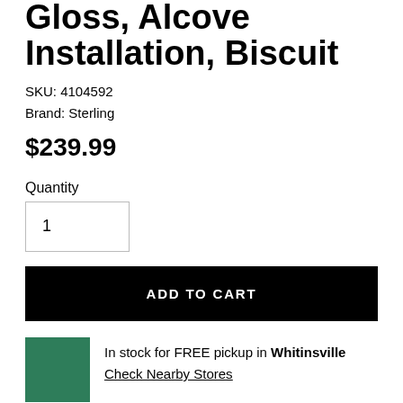Gloss, Alcove Installation, Biscuit
SKU: 4104592
Brand: Sterling
$239.99
Quantity
1
ADD TO CART
In stock for FREE pickup in Whitinsville
Check Nearby Stores
3 components sold separately. Available in realistic 6 in x